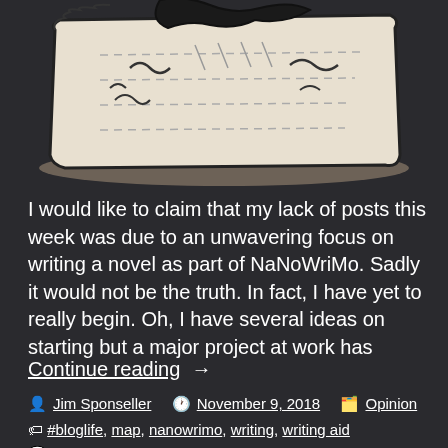[Figure (illustration): Illustration of a map or scroll-like paper with wave/ocean marks and lines, depicted in a cartoon/drawing style on a dark background]
I would like to claim that my lack of posts this week was due to an unwavering focus on writing a novel as part of NaNoWriMo. Sadly it would not be the truth. In fact, I have yet to really begin. Oh, I have several ideas on starting but a major project at work has
Continue reading  →
Jim Sponseller  November 9, 2018  Opinion  #bloglife, map, nanowrimo, writing, writing aid  Leave a comment